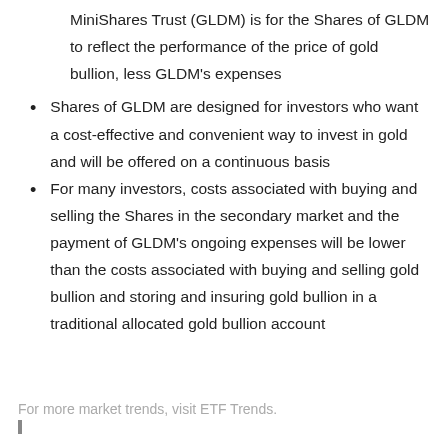MiniShares Trust (GLDM) is for the Shares of GLDM to reflect the performance of the price of gold bullion, less GLDM's expenses
Shares of GLDM are designed for investors who want a cost-effective and convenient way to invest in gold and will be offered on a continuous basis
For many investors, costs associated with buying and selling the Shares in the secondary market and the payment of GLDM's ongoing expenses will be lower than the costs associated with buying and selling gold bullion and storing and insuring gold bullion in a traditional allocated gold bullion account
For more market trends, visit ETF Trends.